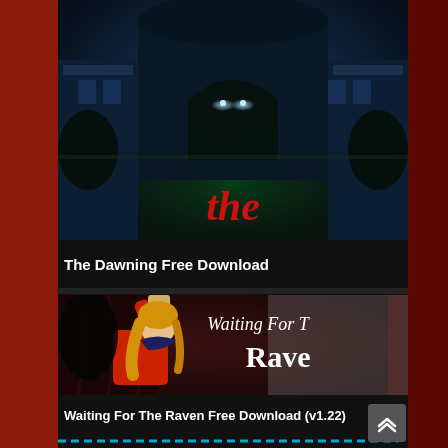[Figure (screenshot): Screenshot of 'The Dawning' game showing a dark outdoor scene with glowing lights and the word 'the' in red gothic letters]
The Dawning Free Download
[Figure (screenshot): Screenshot of 'Waiting For The Raven' game showing a character holding a scroll aloft with 'Waiting For The Raven' text]
Waiting For The Raven Free Download (v1.22)